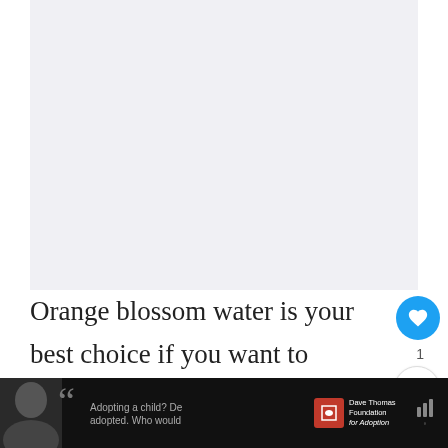[Figure (photo): Blank/light gray placeholder area representing an image at the top of the page]
Orange blossom water is your best choice if you want to replace Grand Marnier's bitter orange taste. It's non-alcoholic water from the distillation of bitter orange flowers.
[Figure (screenshot): Social media UI: heart/like button (blue circle, count 1), share button, and What's Next panel showing '7 Best Rated Gas Cookto...' with a thumbnail image]
[Figure (screenshot): Advertisement bar at bottom: dark background with photo of woman, quotation mark, ad text 'Adopting a child? De adopted. Who would' overlapping text, Dave Thomas Foundation for Adoption logo, close button, and right icon]